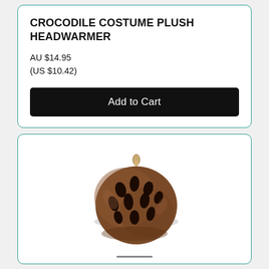CROCODILE COSTUME PLUSH HEADWARMER
AU $14.95
(US $10.42)
Add to Cart
[Figure (photo): A round dark brown plush headwarmer shaped like a crocodile costume head, with dark oval spots/holes on the surface and a small loop on top, shown from a slight angle above.]